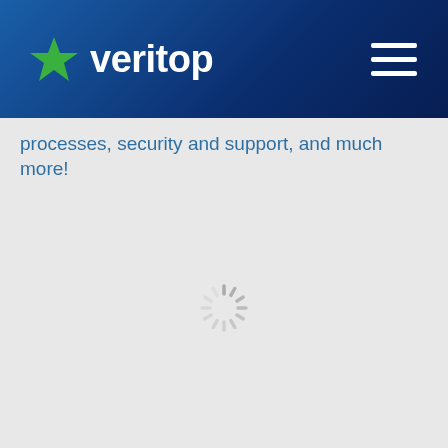veritop
processes, security and support, and much more!
[Figure (other): Loading spinner — circular dashed spinner animation indicator centered on a light gray background]